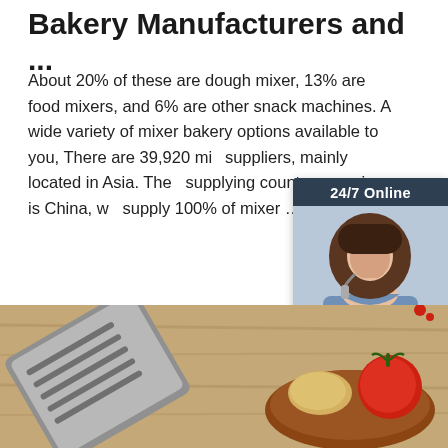Bakery Manufacturers and ...
About 20% of these are dough mixer, 13% are food mixers, and 6% are other snack machines. A wide variety of mixer bakery options available to you, There are 39,920 mix suppliers, mainly located in Asia. The supplying country or region is China, w supply 100% of mixer …
[Figure (photo): Customer service chat widget with woman wearing headset, '24/7 Online' header, 'Click here for free chat!' text, and QUOTATION button on dark navy background]
[Figure (photo): Get Price orange button on left; bottom image showing spatula/kitchen utensil and vegetables (potatoes and tomato) on wooden surface]